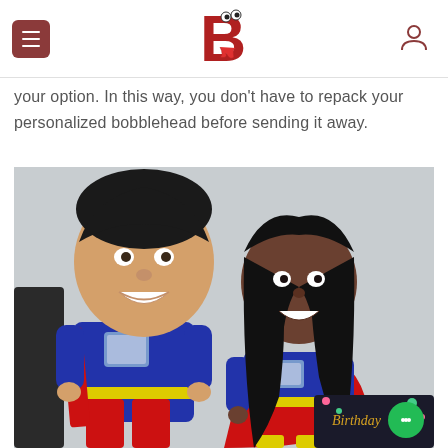Navigation header with menu button, bobblehead logo, and user icon
your option. In this way, you don't have to repack your personalized bobblehead before sending it away.
[Figure (photo): Two custom bobblehead figurines dressed as superheroes (Superman and Supergirl style) in blue and red costumes with capes, posed heroically. The male figure is taller with dark hair; the female figure has long black hair. A birthday gift card is partially visible in the lower right corner.]